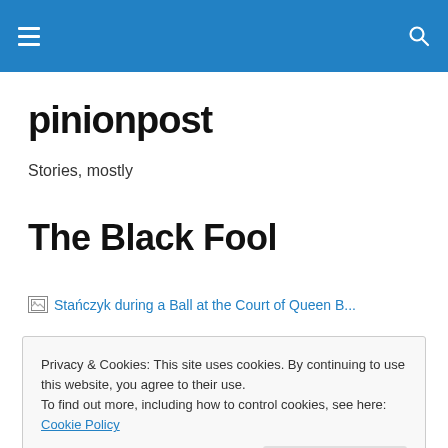pinionpost navigation bar
pinionpost
Stories, mostly
The Black Fool
[Figure (illustration): Broken image placeholder with alt text: Stańczyk during a Ball at the Court of Queen B...]
Privacy & Cookies: This site uses cookies. By continuing to use this website, you agree to their use.
To find out more, including how to control cookies, see here: Cookie Policy